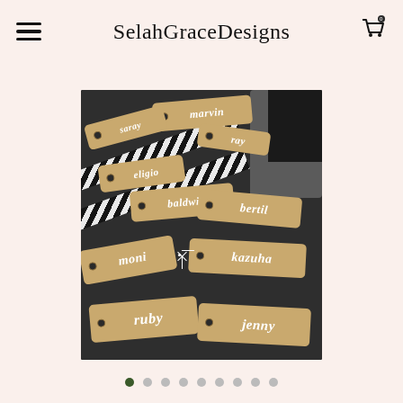SelahGraceDesigns
SelahGraceDesigns
[Figure (photo): Multiple kraft paper gift tags with white calligraphy names including marvin, ray, eligio, baldwin, bertil, moni, kazuha, ruby, jenny, arranged on a dark background with black and white striped ribbon]
Carousel navigation dots (1 of 9 active)